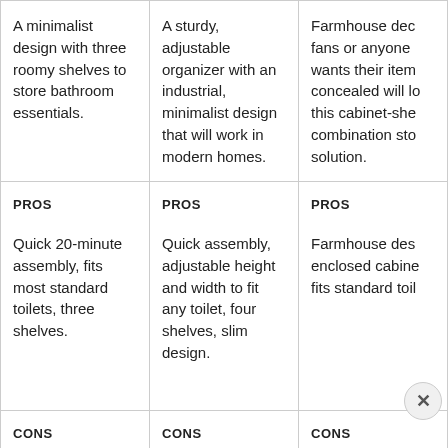| Column 1 | Column 2 | Column 3 |
| --- | --- | --- |
| A minimalist design with three roomy shelves to store bathroom essentials. | A sturdy, adjustable organizer with an industrial, minimalist design that will work in modern homes. | Farmhouse dec fans or anyone wants their item concealed will lo this cabinet-she combination sto solution. |
| PROS

Quick 20-minute assembly, fits most standard toilets, three shelves. | PROS

Quick assembly, adjustable height and width to fit any toilet, four shelves, slim design. | PROS

Farmhouse des enclosed cabine fits standard toil |
| CONS | CONS | CONS |